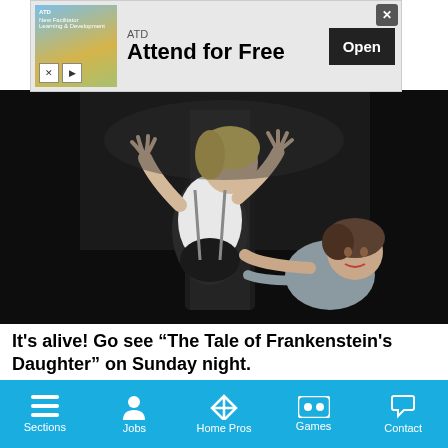[Figure (other): Advertisement banner: ATD logo with 'Attend for Free' text and Open button]
[Figure (photo): Two performers in theatrical costumes on a dark stage. One standing performer in white shirt with arms raised, another crouching figure with dramatic expression, for 'The Tale of Frankenstein's Daughter'.]
It's alive! Go see “The Tale of Frankenstein’s Daughter” on Sunday night.
Photo by Zoran Jelenic
[Figure (other): Social share buttons: Facebook (blue), Twitter (light blue), Google+ (red/orange)]
Sections  Jobs  Home Pros  Games  Contact